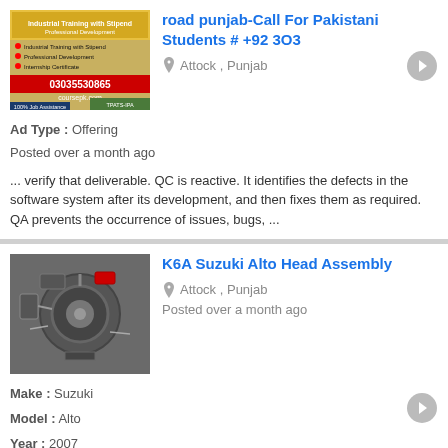[Figure (photo): Advertisement thumbnail showing a training course with phone number 03035530865 and website coursepk.com]
road punjab-Call For Pakistani Students # +92 3O3
Attock , Punjab
Ad Type :  Offering
Posted over a month ago
... verify that deliverable. QC is reactive. It identifies the defects in the software system after its development, and then fixes them as required. QA prevents the occurrence of issues, bugs, ...
[Figure (photo): Photo of a Suzuki Alto K6A engine head assembly showing mechanical parts]
K6A Suzuki Alto Head Assembly
Attock , Punjab
Posted over a month ago
Make :  Suzuki
Model :  Alto
Year :  2007
Ad Type :  Offering
Kabli Head Assembly